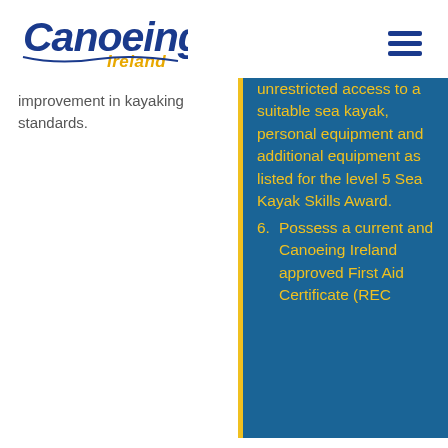Canoeing Ireland
improvement in kayaking standards.
unrestricted access to a suitable sea kayak, personal equipment and additional equipment as listed for the level 5 Sea Kayak Skills Award.
6. Possess a current and Canoeing Ireland approved First Aid Certificate (REC